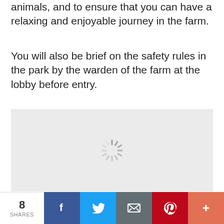animals, and to ensure that you can have a relaxing and enjoyable journey in the farm.
You will also be brief on the safety rules in the park by the warden of the farm at the lobby before entry.
[Figure (photo): Image placeholder with a loading spinner (gray background)]
8 SHARES | Facebook | Twitter | Email | Pinterest | More